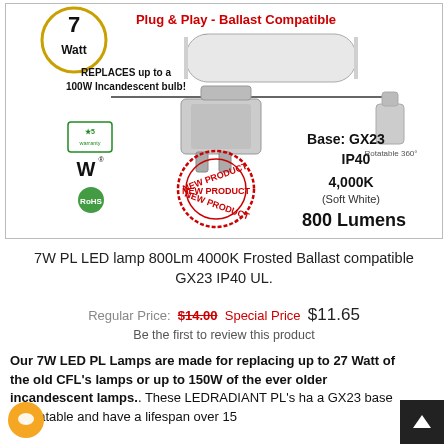[Figure (photo): Product image of 7W PL LED lamp with GX23 base. Shows the bulb with frosted lens, rotatable 360 degrees. Includes badges: 5-year warranty, UL listed, RoHS, New Product stamp. Text overlays: '7 Watt', 'Plug & Play - Ballast Compatible', 'Frosted Lens', 'REPLACES up to a 100W Incandescent bulb!', 'Rotatable 360°', 'Base: GX23', 'IP40', '4,000K (Soft White)', '800 Lumens'.]
7W PL LED lamp 800Lm 4000K Frosted Ballast compatible GX23 IP40 UL.
Regular Price: $14.00 Special Price $11.65
Be the first to review this product
Our 7W LED PL Lamps are made for replacing up to 27 Watt of the old CFL's lamps or up to 150W of the ever older incandescent lamps.. These LEDRADIANT PL's ha a GX23 base is rotatable and have a lifespan over 15